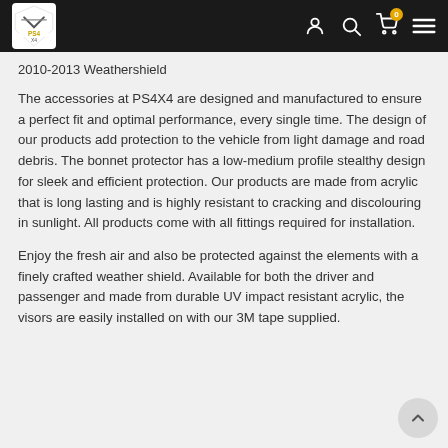PS4X4 logo and navigation header
2010-2013 Weathershield
The accessories at PS4X4 are designed and manufactured to ensure a perfect fit and optimal performance, every single time. The design of our products add protection to the vehicle from light damage and road debris. The bonnet protector has a low-medium profile stealthy design for sleek and efficient protection. Our products are made from acrylic that is long lasting and is highly resistant to cracking and discolouring in sunlight. All products come with all fittings required for installation.
Enjoy the fresh air and also be protected against the elements with a finely crafted weather shield. Available for both the driver and passenger and made from durable UV impact resistant acrylic, the visors are easily installed on with our 3M tape supplied.